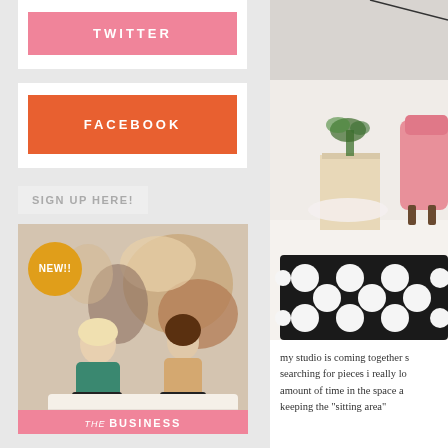[Figure (screenshot): Pink TWITTER button on white card background]
[Figure (screenshot): Orange FACEBOOK button on white card background]
SIGN UP HERE!
[Figure (photo): Two women sitting on a couch, with a NEW!! badge and The Business banner at bottom, colorful abstract art behind them]
[Figure (photo): Interior photo showing a pink chair, wooden block table, plant, white floor, and black and white polka dot rug]
my studio is coming together searching for pieces i really lo amount of time in the space a keeping the "sitting area"